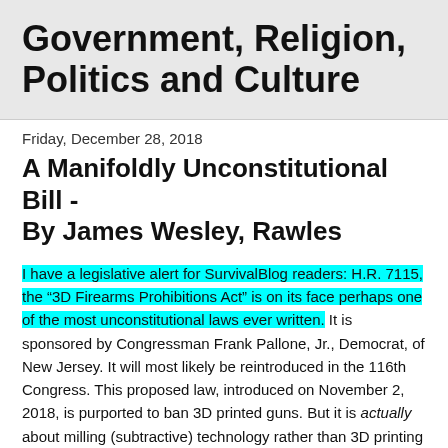Government, Religion, Politics and Culture
Friday, December 28, 2018
A Manifoldly Unconstitutional Bill - By James Wesley, Rawles
I have a legislative alert for SurvivalBlog readers: H.R. 7115, the “3D Firearms Prohibitions Act” is on its face perhaps one of the most unconstitutional laws ever written. It is sponsored by Congressman Frank Pallone, Jr., Democrat, of New Jersey. It will most likely be reintroduced in the 116th Congress. This proposed law, introduced on November 2, 2018, is purported to ban 3D printed guns. But it is actually about milling (subtractive) technology rather than 3D printing (additive) technology. I have news for Mr. Pallone: All guns are “3D”, once they are off the drawing board!